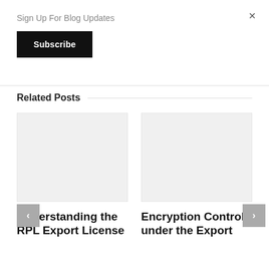Sign Up For Blog Updates
Subscribe
Related Posts
[Figure (photo): Placeholder image for related post 1 (light gray rectangle)]
Understanding the RPL Export License
[Figure (photo): Placeholder image for related post 2 (light gray rectangle)]
Encryption Controls under the Export